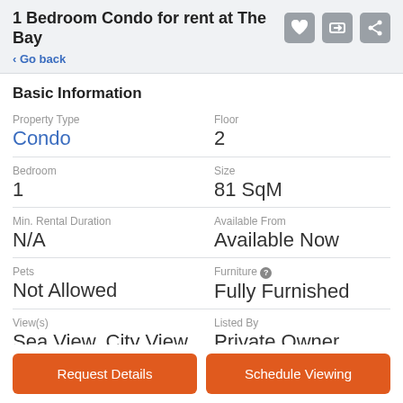1 Bedroom Condo for rent at The Bay
< Go back
Basic Information
| Field | Value |
| --- | --- |
| Property Type | Condo |
| Floor | 2 |
| Bedroom | 1 |
| Size | 81 SqM |
| Min. Rental Duration | N/A |
| Available From | Available Now |
| Pets | Not Allowed |
| Furniture | Fully Furnished |
| View(s) | Sea View, City View, Unblocked Open View |
| Listed By | Private Owner |
Request Details
Schedule Viewing